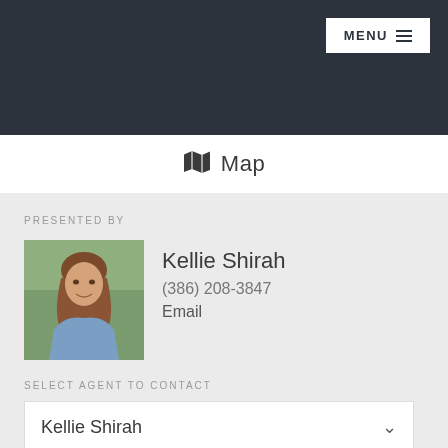MENU
Map
PRESENTED BY
[Figure (photo): Headshot photo of Kellie Shirah, a woman with long brown hair wearing a blue top, outdoors with green foliage in background]
Kellie Shirah
(386) 208-3847
Email
SELECT AGENT TO CONTACT
Kellie Shirah